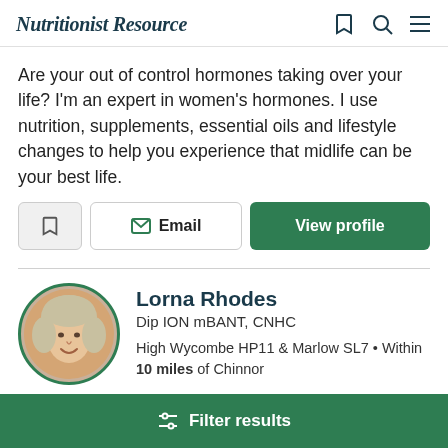Nutritionist Resource
Are your out of control hormones taking over your life? I'm an expert in women's hormones. I use nutrition, supplements, essential oils and lifestyle changes to help you experience that midlife can be your best life.
[Figure (screenshot): Three action buttons: bookmark icon button, Email button with envelope icon, and green View profile button]
Lorna Rhodes
Dip ION mBANT, CNHC
High Wycombe HP11 & Marlow SL7 • Within 10 miles of Chinnor
Wh... (partially visible text)
Filter results